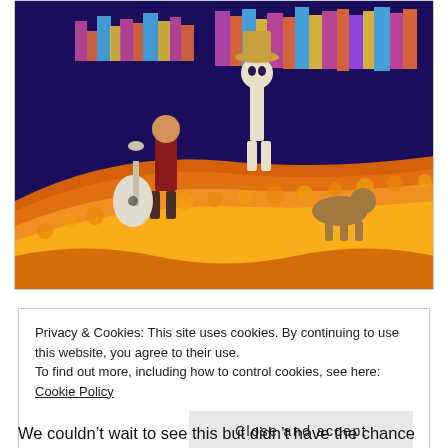[Figure (illustration): Movie poster image from Pixar's Coco, showing a boy carrying a guitar walking on a marigold bridge with a skeleton figure and a dog, colorful city in background at night.]
Privacy & Cookies: This site uses cookies. By continuing to use this website, you agree to their use.
To find out more, including how to control cookies, see here: Cookie Policy
Close and accept
We couldn't wait to see this but didn't have the chance